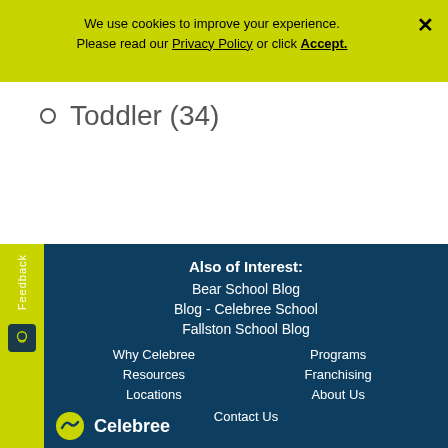We use cookies to improve your experience. Please read our Privacy Policy or click Accept.
Toddler (34)
Also of Interest:
Bear School Blog
Blog - Celebree School
Fallston School Blog
Why Celebree | Programs | Resources | Franchising | Locations | About Us | Contact Us
[Figure (logo): Celebree School logo in footer]